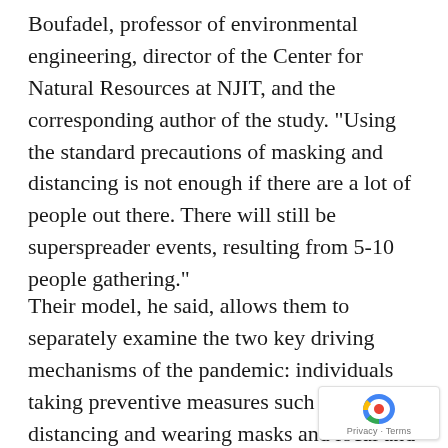Boufadel, professor of environmental engineering, director of the Center for Natural Resources at NJIT, and the corresponding author of the study. "Using the standard precautions of masking and distancing is not enough if there are a lot of people out there. There will still be superspreader events, resulting from 5-10 people gathering."
Their model, he said, allows them to separately examine the two key driving mechanisms of the pandemic: individuals taking preventive measures such as social distancing and wearing masks and local and state policies on shutting down or reopening public spaces.
"Policies can...